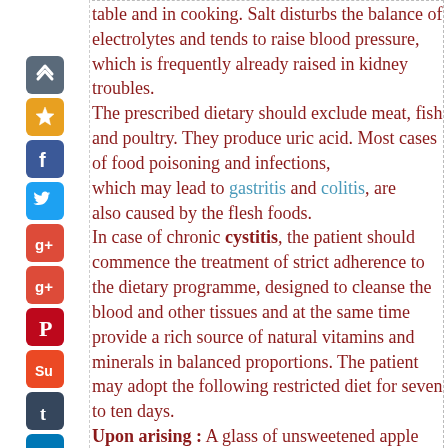[Figure (infographic): Vertical sidebar with social media sharing icons: up-arrow/scroll icon (dark background), star/bookmark icon (yellow), Facebook (blue), Twitter (blue), Google+ (red), Google+ variant (red/yellow), Pinterest (red), StumbleUpon (orange), Tumblr (blue), LinkedIn (blue), Windows/grid icon (blue/white), share/grid icon (gray)]
table and in cooking. Salt disturbs the balance of electrolytes and tends to raise blood pressure, which is frequently already raised in kidney troubles. The prescribed dietary should exclude meat, fish and poultry. They produce uric acid. Most cases of food poisoning and infections, which may lead to gastritis and colitis, are also caused by the flesh foods. In case of chronic cystitis, the patient should commence the treatment of strict adherence to the dietary programme, designed to cleanse the blood and other tissues and at the same time provide a rich source of natural vitamins and minerals in balanced proportions. The patient may adopt the following restricted diet for seven to ten days. Upon arising : A glass of unsweetened apple juice or carrot juice Breakfast : Fresh fruits, selected mainly from apple, pear